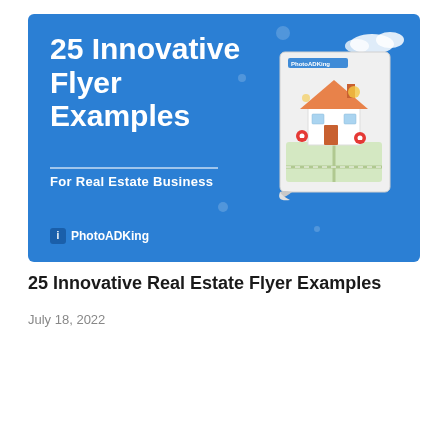[Figure (illustration): Blue banner image for '25 Innovative Flyer Examples For Real Estate Business' by PhotoADKing, featuring bold white text on a blue background with a decorative illustrated real estate flyer in the top right corner.]
25 Innovative Real Estate Flyer Examples
July 18, 2022